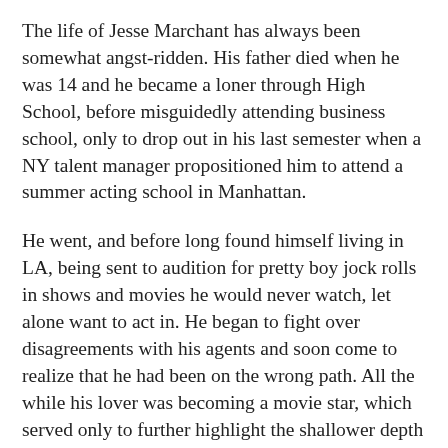The life of Jesse Marchant has always been somewhat angst-ridden. His father died when he was 14 and he became a loner through High School, before misguidedly attending business school, only to drop out in his last semester when a NY talent manager propositioned him to attend a summer acting school in Manhattan.
He went, and before long found himself living in LA, being sent to audition for pretty boy jock rolls in shows and movies he would never watch, let alone want to act in. He began to fight over disagreements with his agents and soon come to realize that he had been on the wrong path. All the while his lover was becoming a movie star, which served only to further highlight the shallower depth of his own convictions.
It was in that period that he first began to write songs. Soon thereafter his manager fell ill and died, his